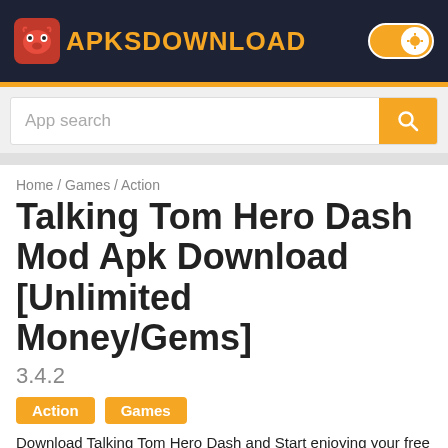APKSDOWNLOAD
App search
Home / Games / Action
Talking Tom Hero Dash Mod Apk Download [Unlimited Money/Gems]
3.4.2
Action
Games
Download Talking Tom Hero Dash and Start enjoying your free time!
Developer
Outfit7 Limited